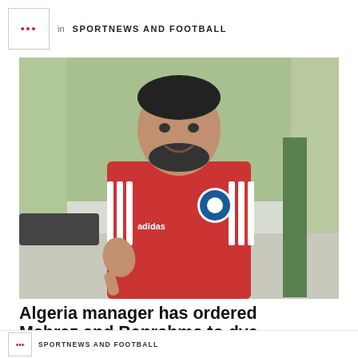in SPORTNEWS AND FOOTBALL
[Figure (photo): Man smiling in a red Algeria national football team Adidas polo shirt, giving a thumbs up gesture, outdoors]
Algeria manager has ordered Mahrez and Benrahma to dye their hair back before joining the national team.
SPORTNEWS AND FOOTBALL